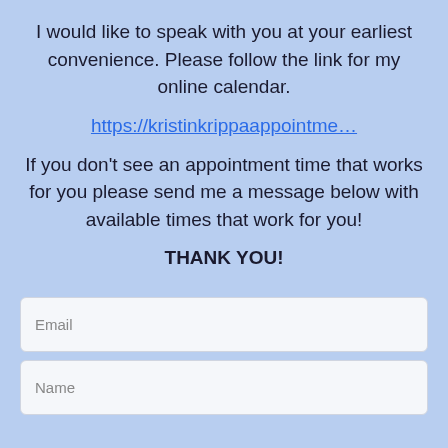I would like to speak with you at your earliest convenience. Please follow the link for my online calendar.
https://kristinkrippaappointme…
If you don't see an appointment time that works for you please send me a message below with available times that work for you!
THANK YOU!
Email
Name